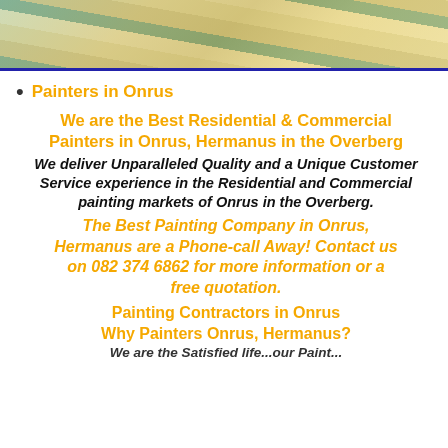[Figure (photo): Partial photo of paint color swatches or painted surfaces in green, yellow, and tan tones, with a dark blue border at the bottom.]
Painters in Onrus
We are the Best Residential & Commercial Painters in Onrus, Hermanus in the Overberg
We deliver Unparalleled Quality and a Unique Customer Service experience in the Residential and Commercial painting markets of Onrus in the Overberg.
The Best Painting Company in Onrus, Hermanus are a Phone-call Away! Contact us on 082 374 6862 for more information or a free quotation.
Painting Contractors in Onrus
Why Painters Onrus, Hermanus?
We are the Satisfied life...our Paint...